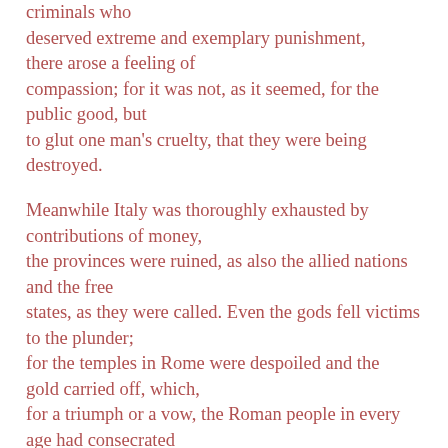criminals who deserved extreme and exemplary punishment, there arose a feeling of compassion; for it was not, as it seemed, for the public good, but to glut one man's cruelty, that they were being destroyed.
Meanwhile Italy was thoroughly exhausted by contributions of money, the provinces were ruined, as also the allied nations and the free states, as they were called. Even the gods fell victims to the plunder; for the temples in Rome were despoiled and the gold carried off, which, for a triumph or a vow, the Roman people in every age had consecrated in their prosperity or their alarm. Throughout Asia and Achaia not